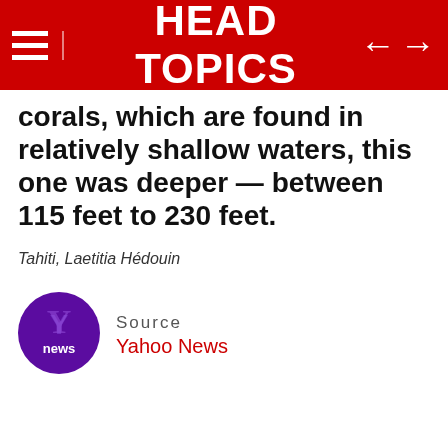HEAD TOPICS
corals, which are found in relatively shallow waters, this one was deeper — between 115 feet to 230 feet.
Tahiti, Laetitia Hédouin
[Figure (logo): Yahoo News logo: purple circle with Y and 'news' text in white]
Source
Yahoo News